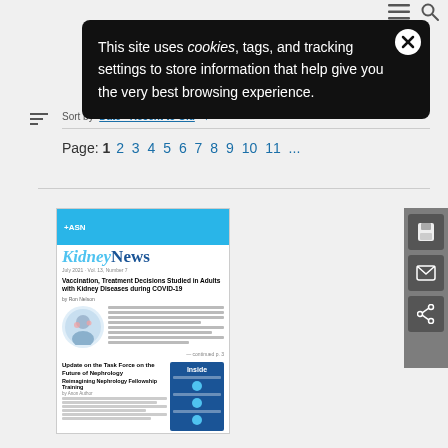This site uses cookies, tags, and tracking settings to store information that help give you the very best browsing experience.
Sort by Date - Recent to Old
Page: 1 2 3 4 5 6 7 8 9 10 11 ...
[Figure (screenshot): Thumbnail of ASN Kidney News magazine cover featuring article 'Vaccination, Treatment Decisions Studied in Adults with Kidney Diseases during COVID-19' with image of person and article columns, and 'Inside' section panel]